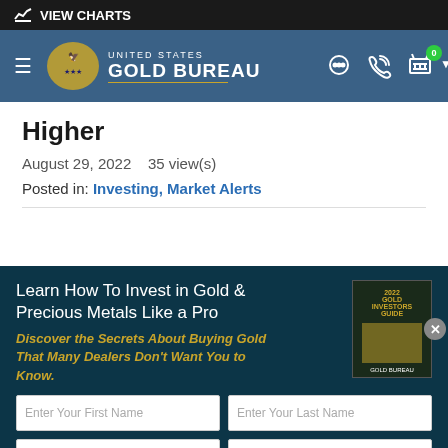VIEW CHARTS
[Figure (logo): United States Gold Bureau navigation bar with logo, hamburger menu, chat, phone, and cart icons]
Higher
August 29, 2022   35 view(s)
Posted in: Investing, Market Alerts
Learn How To Invest in Gold & Precious Metals Like a Pro
Discover the Secrets About Buying Gold That Many Dealers Don't Want You to Know.
Enter Your First Name | Enter Your Last Name | Enter Your Email | Enter Your Phone Number
Download Your Guide
By clicking the button, I agree to be bound by the Privacy Policy, User Agreement, Market-Loss Policy, Electronic Disclaimer and Terms & Conditions of sale.